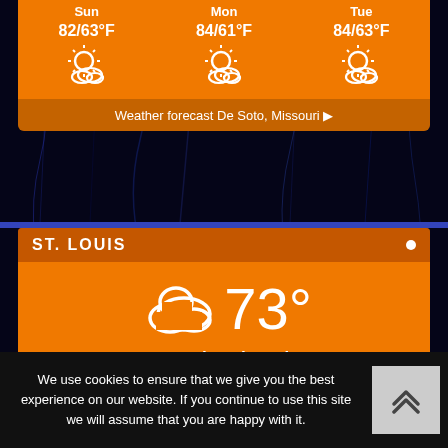[Figure (screenshot): Weather widget showing De Soto, Missouri forecast with Sun 82/63°F, Mon 84/61°F, Tue 84/63°F with partly cloudy icons on orange background]
Weather forecast De Soto, Missouri ▶
[Figure (screenshot): St. Louis weather widget on orange background showing 73° mostly cloudy, sunrise 6:19 am, sunset 7:48 pm CDT, hourly forecast 0h: 72°F and 1h: 72°F with cloudy icons]
We use cookies to ensure that we give you the best experience on our website. If you continue to use this site we will assume that you are happy with it.